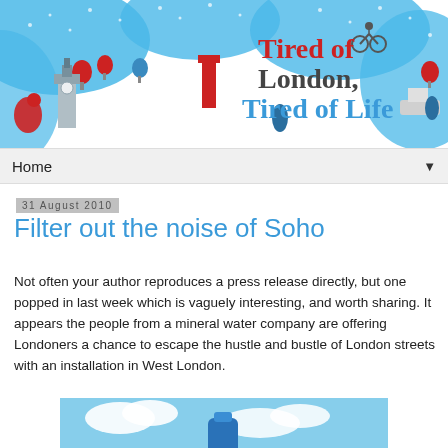[Figure (illustration): Blog header banner with blue wavy river illustration, cartoon London landmarks (Big Ben, trees, boats, cyclist), with text 'Tired of London, Tired of Life' in red and brown/dark color on white background]
Home
31 August 2010
Filter out the noise of Soho
Not often your author reproduces a press release directly, but one popped in last week which is vaguely interesting, and worth sharing. It appears the people from a mineral water company are offering Londoners a chance to escape the hustle and bustle of London streets with an installation in West London.
[Figure (photo): Partial photo showing blue sky with white clouds and what appears to be a blue object or structure, partially visible at bottom of page]